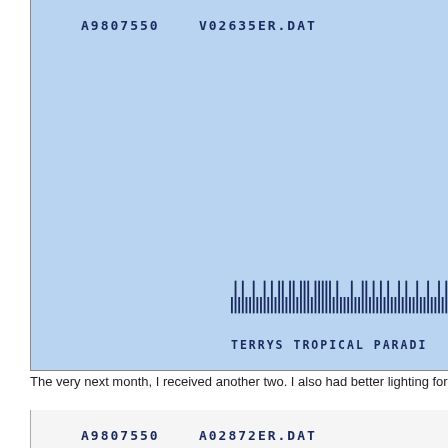[Figure (photo): Scan of an envelope with light blue background showing account number A9807550, filename V02635ER.DAT, a postal barcode, and partial address TERRYS TROPICAL PARADI...]
The very next month, I received another two. I also had better lighting for my sc
[Figure (photo): Scan of a second envelope with white/light background showing account number A9807550, filename A02872ER.DAT]